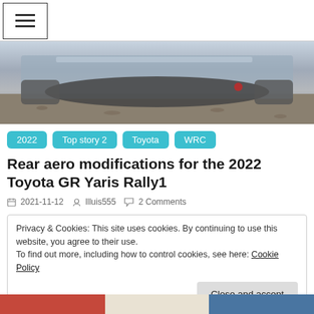≡ (hamburger menu icon)
[Figure (photo): Close-up rear view of a rally car undercarriage/diffuser on a gravel road]
2022
Top story 2
Toyota
WRC
Rear aero modifications for the 2022 Toyota GR Yaris Rally1
2021-11-12   llluis555   2 Comments
Privacy & Cookies: This site uses cookies. By continuing to use this website, you agree to their use.
To find out more, including how to control cookies, see here: Cookie Policy
Close and accept
[Figure (photo): Partial view of another image at the bottom of the page]